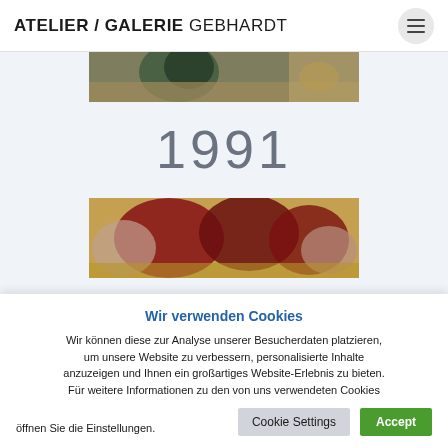ATELIER / GALERIE GEBHARDT
[Figure (photo): Partial view of a painting showing a dark landscape scene, cropped at the top]
1991
[Figure (photo): Partial view of a painting showing red and earth-toned figures, bottom portion cropped]
Wir verwenden Cookies
Wir können diese zur Analyse unserer Besucherdaten platzieren, um unsere Website zu verbessern, personalisierte Inhalte anzuzeigen und Ihnen ein großartiges Website-Erlebnis zu bieten. Für weitere Informationen zu den von uns verwendeten Cookies öffnen Sie die Einstellungen.
Cookie Settings
Accept